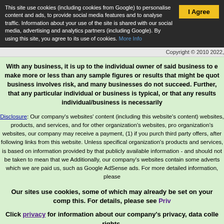This site use cookies (including cookies from Google) to personalise content and ads, to provide social media features and to analyse traffic. Information about your use of the site is shared with our social media, advertising and analytics partners (including Google). By using this site, you agree to its use of cookies. More Info
Copyright © 2010 2022,
With any business, it is up to the individual owner of said business to e make more or less than any sample figures or results that might be quot business involves risk, and many businesses do not succeed. Further, that any particular individual or business is typical, or that any results individual/business is necessarily
Disclosure: Our company's websites' content (including this website's content) websites, products, and services, and for other organization's websites, pro organization's websites, our company may receive a payment, (1) if you purch third party offers, after following links from this website. Unless specifical organization's products and services, is based on information provided by that publicly available information - and should not be taken to mean that we Additionally, our company's websites contain some adverts which we are paid us, such as Google AdSense ads. For more detailed information, please
Our sites use cookies, some of which may already be set on your comp this. For details, please see Priv
Click privacy for information about our company's privacy, data colle rights.
Contact Us   About and Terms Of Use   Privacy   Advertisi